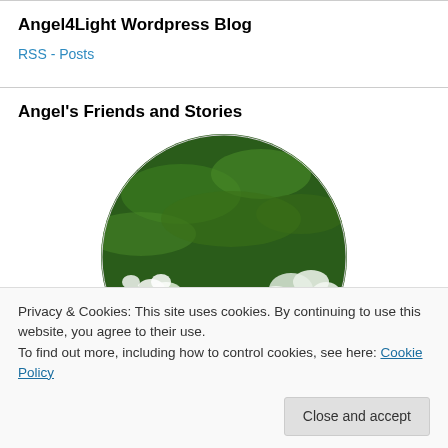Angel4Light Wordpress Blog
RSS - Posts
Angel's Friends and Stories
[Figure (photo): Circular cropped photo of white flowers with pink accents against a dark green leafy background.]
Privacy & Cookies: This site uses cookies. By continuing to use this website, you agree to their use.
To find out more, including how to control cookies, see here: Cookie Policy
Close and accept